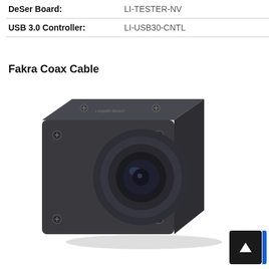| DeSer Board: | LI-TESTER-NV |
| USB 3.0 Controller: | LI-USB30-CNTL |
Fakra Coax Cable
[Figure (photo): A small industrial camera module with dark gray/black metal housing, a large cylindrical lens on the front face, and four corner screws. The camera is shown in a three-quarter perspective view.]